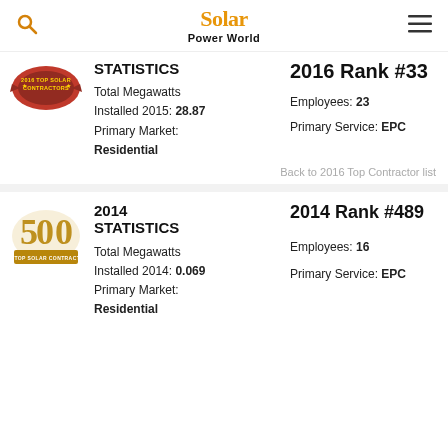Solar Power World
2016 Rank #33 — STATISTICS
Total Megawatts Installed 2015: 28.87
Primary Market: Residential
Employees: 23
Primary Service: EPC
Back to 2016 Top Contractor list
2014 STATISTICS — 2014 Rank #489
Total Megawatts Installed 2014: 0.069
Primary Market: Residential
Employees: 16
Primary Service: EPC